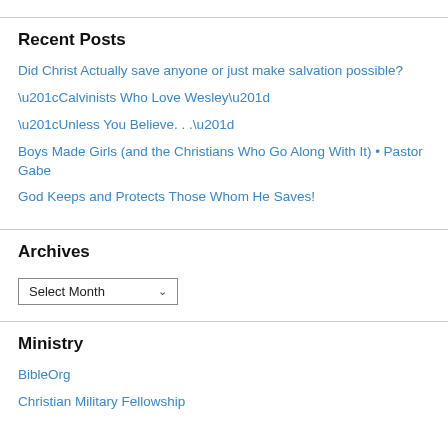Recent Posts
Did Christ Actually save anyone or just make salvation possible?
“Calvinists Who Love Wesley”
“Unless You Believe. . .”
Boys Made Girls (and the Christians Who Go Along With It) • Pastor Gabe
God Keeps and Protects Those Whom He Saves!
Archives
Select Month
Ministry
BibleOrg
Christian Military Fellowship